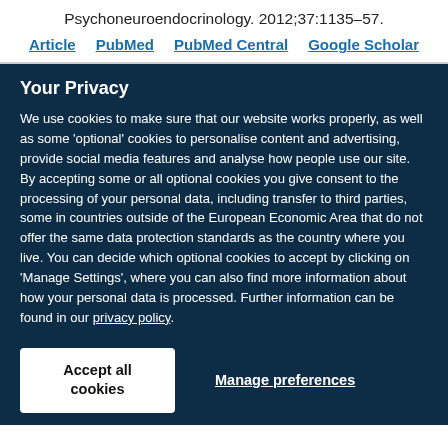Psychoneuroendocrinology. 2012;37:1135–57.
Article   PubMed   PubMed Central   Google Scholar
Your Privacy
We use cookies to make sure that our website works properly, as well as some 'optional' cookies to personalise content and advertising, provide social media features and analyse how people use our site. By accepting some or all optional cookies you give consent to the processing of your personal data, including transfer to third parties, some in countries outside of the European Economic Area that do not offer the same data protection standards as the country where you live. You can decide which optional cookies to accept by clicking on 'Manage Settings', where you can also find more information about how your personal data is processed. Further information can be found in our privacy policy.
Accept all cookies
Manage preferences